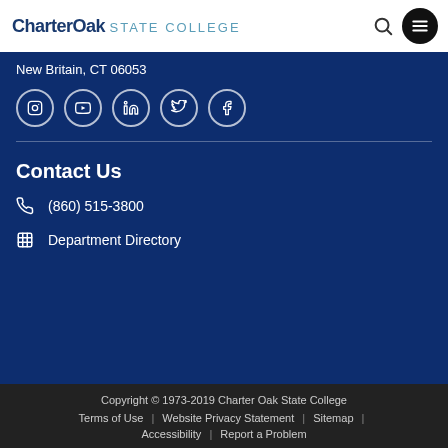CharterOak STATE COLLEGE
New Britain, CT 06053
[Figure (illustration): Row of social media icons (Instagram, YouTube, LinkedIn, Twitter, Facebook) as white outlined circles on dark blue background]
Contact Us
(860) 515-3800
Department Directory
Copyright © 1973-2019 Charter Oak State College | Terms of Use | Website Privacy Statement | Sitemap | Accessibility | Report a Problem